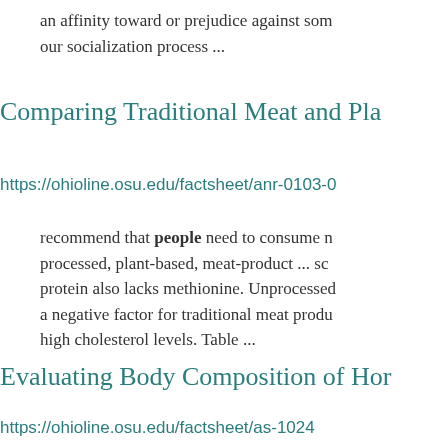an affinity toward or prejudice against som... our socialization process ...
Comparing Traditional Meat and Pla...
https://ohioline.osu.edu/factsheet/anr-0103-0
recommend that people need to consume ... processed, plant-based, meat-product ... so... protein also lacks methionine. Unprocessed... a negative factor for traditional meat produ... high cholesterol levels. Table ...
Evaluating Body Composition of Hor...
https://ohioline.osu.edu/factsheet/as-1024